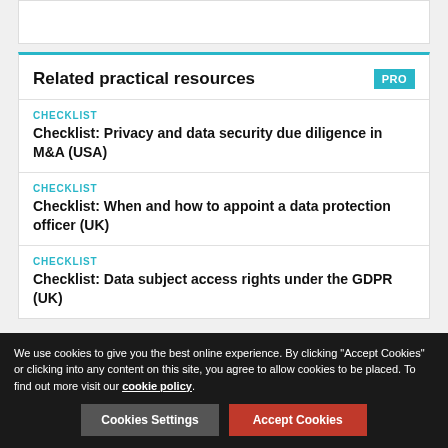Related practical resources
CHECKLIST
Checklist: Privacy and data security due diligence in M&A (USA)
CHECKLIST
Checklist: When and how to appoint a data protection officer (UK)
CHECKLIST
Checklist: Data subject access rights under the GDPR (UK)
We use cookies to give you the best online experience. By clicking "Accept Cookies" or clicking into any content on this site, you agree to allow cookies to be placed. To find out more visit our cookie policy